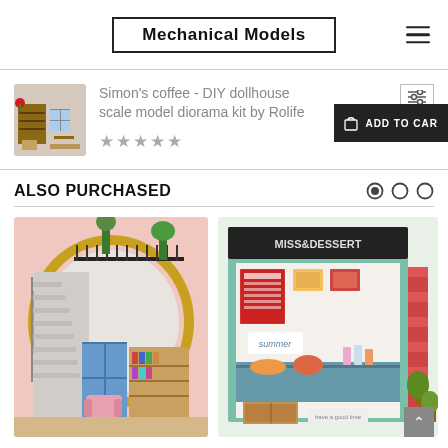Mechanical Models
Simon's coffee - DIY dollhouse scale model diorama kit by Rolife
★★★★★
ALSO PURCHASED
[Figure (photo): DIY dollhouse scale model with spiral staircase, pink walls, bookshelf, pink armchair, and plants - loft style miniature]
[Figure (photo): DIY dollhouse scale model dessert shop named Miss & Dessert with colorful food items, plants, and summer signage]